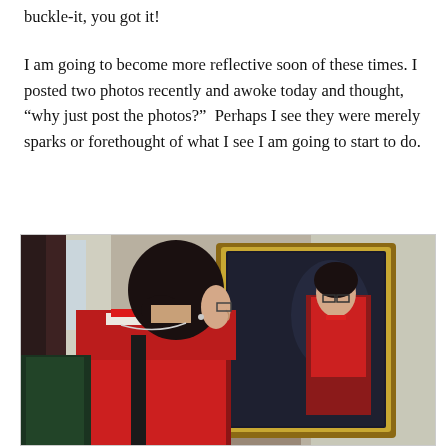buckle-it, you got it!
I am going to become more reflective soon of these times. I posted two photos recently and awoke today and thought, “why just post the photos?”  Perhaps I see they were merely sparks or forethought of what I see I am going to start to do.
[Figure (photo): A woman with dark hair in a bun, wearing glasses and a red satin dress with white lace trim and a red satin ribbon at the neck, standing in front of a large gold-framed mirror. Her reflection is visible in the mirror showing her face with glasses. The setting appears to be an indoor room.]